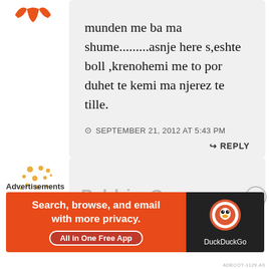[Figure (logo): Orange bird/WP logo icon at top left]
munden me ba ma shume.........asnje here s,eshte boll ,krenohemi me to por duhet te kemi ma njerez te tille.
SEPTEMBER 21, 2012 AT 5:43 PM
↪ REPLY
[Figure (illustration): Partial second comment avatar (star/dots pattern) at bottom left]
Advertisements
[Figure (screenshot): DuckDuckGo advertisement banner: Search, browse, and email with more privacy. All in One Free App]
ADECOT-1129.AS